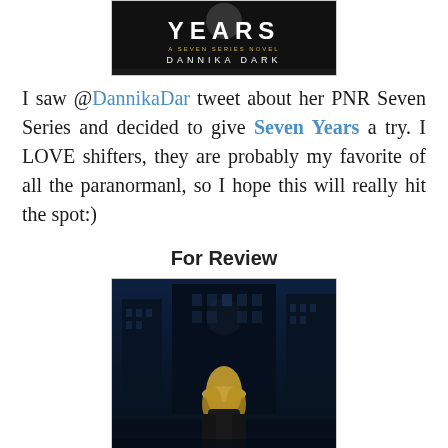[Figure (illustration): Top portion of book cover for 'Seven Years' by Dannika Dark — dark background with 'YEARS' text and author name]
I saw @DannikaDar tweet about her PNR Seven Series and decided to give Seven Years a try. I LOVE shifters, they are probably my favorite of all the paranormanl, so I hope this will really hit the spot:)
For Review
[Figure (illustration): Book cover for 'The Unseemly' — dark atmospheric cover showing a blonde woman from behind facing a dark building, with moonlight, text reads THE UNSEEMLY]